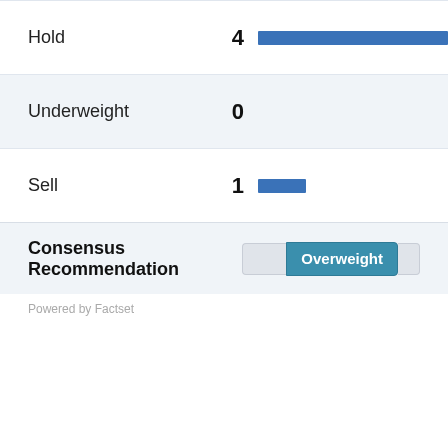[Figure (bar-chart): Analyst Recommendations]
Consensus Recommendation: Overweight
Powered by Factset